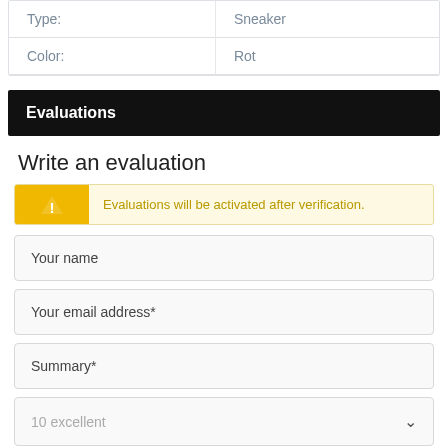| Type: | Sneaker |
| --- | --- |
| Color: | Rot |
Evaluations
Write an evaluation
Evaluations will be activated after verification.
Your name
Your email address*
Summary*
10 excellent